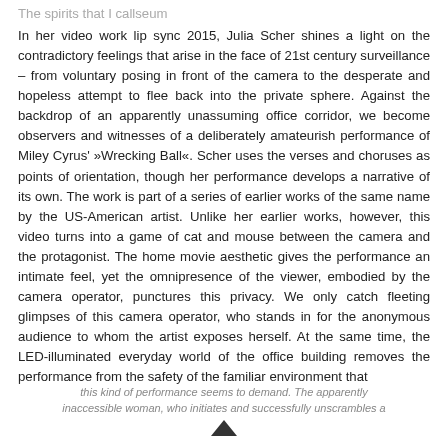The spirits that I callseum
In her video work lip sync 2015, Julia Scher shines a light on the contradictory feelings that arise in the face of 21st century surveillance – from voluntary posing in front of the camera to the desperate and hopeless attempt to flee back into the private sphere. Against the backdrop of an apparently unassuming office corridor, we become observers and witnesses of a deliberately amateurish performance of Miley Cyrus' »Wrecking Ball«. Scher uses the verses and choruses as points of orientation, though her performance develops a narrative of its own. The work is part of a series of earlier works of the same name by the US-American artist. Unlike her earlier works, however, this video turns into a game of cat and mouse between the camera and the protagonist. The home movie aesthetic gives the performance an intimate feel, yet the omnipresence of the viewer, embodied by the camera operator, punctures this privacy. We only catch fleeting glimpses of this camera operator, who stands in for the anonymous audience to whom the artist exposes herself. At the same time, the LED-illuminated everyday world of the office building removes the performance from the safety of the familiar environment that
this kind of performance seems to demand. The apparently inaccessible woman, who initiates and successfully unscrambles a